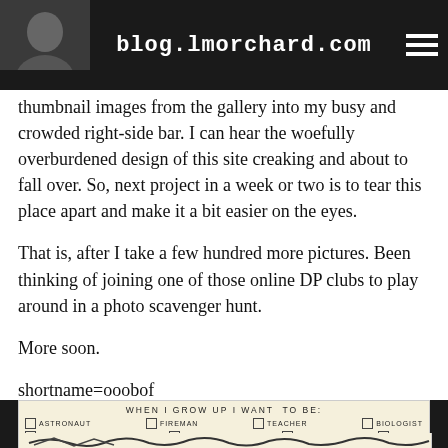blog.lmorchard.com
thumbnail images from the gallery into my busy and crowded right-side bar. I can hear the woefully overburdened design of this site creaking and about to fall over. So, next project in a week or two is to tear this place apart and make it a bit easier on the eyes.
That is, after I take a few hundred more pictures. Been thinking of joining one of those online DP clubs to play around in a photo scavenger hunt.
More soon.
shortname=ooobof
[Figure (photo): A card/form image with the title 'WHEN I GROW UP I WANT TO BE' with checkboxes for ASTRONAUT, FIREMAN, TEACHER, BIOLOGIST, FOOTBALL PLAYER, POLICEMAN, SINGER, ARTIST and handwritten text at the bottom.]